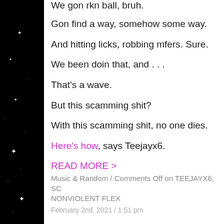We gon rkn ball, bruh.
Gon find a way, somehow some way.
And hitting licks, robbing mfers. Sure.
We been doin that, and . . .
That's a wave.
But this scamming shit?
With this scamming shit, no one dies.
Here's how, says Teejayx6.
READ MORE >
Music & Random / Comments Off on TEEJAYX6, SCAMMING NONVIOLENT FLEX
February 2nd, 2021 / 1:51 pm